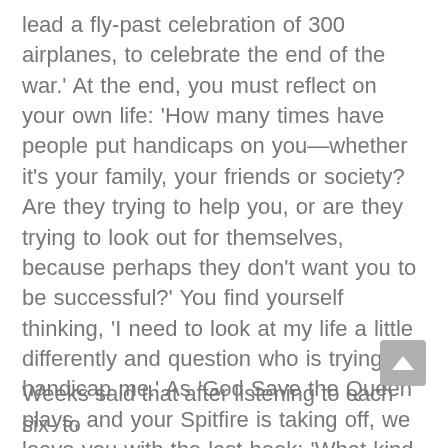lead a fly-past celebration of 300 airplanes, to celebrate the end of the war.' At the end, you must reflect on your own life: 'How many times have people put handicaps on you—whether it's your family, your friends or society? Are they trying to help you, or are they trying to look out for themselves, because perhaps they don't want you to be successful?' You find yourself thinking, 'I need to look at my life a little differently and question who is trying to handicap me.' As 'God Save the Queen' plays, and your Spitfire is taking off, we leave you with the last hook: 'What kind of handicaps are you putting on yours elf? And what are you going to do about it?'
Weeks said that after listening to each six- to